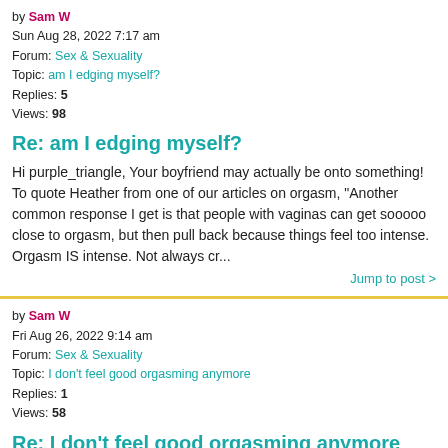by Sam W
Sun Aug 28, 2022 7:17 am
Forum: Sex & Sexuality
Topic: am I edging myself?
Replies: 5
Views: 98
Re: am I edging myself?
Hi purple_triangle, Your boyfriend may actually be onto something! To quote Heather from one of our articles on orgasm, "Another common response I get is that people with vaginas can get sooooo close to orgasm, but then pull back because things feel too intense. Orgasm IS intense. Not always cr...
Jump to post >
by Sam W
Fri Aug 26, 2022 9:14 am
Forum: Sex & Sexuality
Topic: I don't feel good orgasming anymore
Replies: 1
Views: 58
Re: I don't feel good orgasming anymore
Hi aysepasey, There are a few different things that could